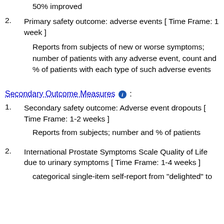50% improved
2. Primary safety outcome: adverse events [ Time Frame: 1 week ]
Reports from subjects of new or worse symptoms; number of patients with any adverse event, count and % of patients with each type of such adverse events
Secondary Outcome Measures :
1. Secondary safety outcome: Adverse event dropouts [ Time Frame: 1-2 weeks ]
Reports from subjects; number and % of patients
2. International Prostate Symptoms Scale Quality of Life due to urinary symptoms [ Time Frame: 1-4 weeks ]
categorical single-item self-report from "delighted" to